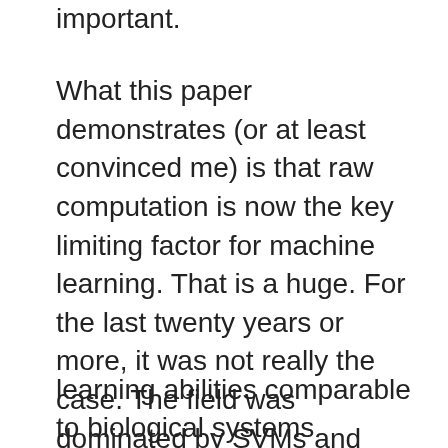important.
What this paper demonstrates (or at least convinced me) is that raw computation is now the key limiting factor for machine learning. That is a huge. For the last twenty years or more, it was not really the case. The field was dominated by SVMs and Boosting. Progress didn't really have much to do with Moore's Law. If machines got a million times faster, it wasn't really clear that we had any good way to use the extra computation. There certainly wasn't a viable path to animal-level perceptual abilities. Now I would like to stick my neck out and say that I think that position has changed. I think we now have a research program that has a meaningful chance of arriving at
learning abilities comparable to biological systems